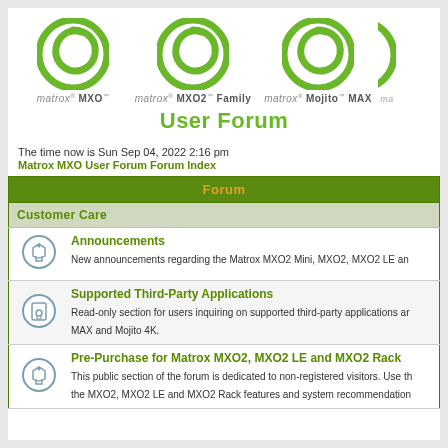[Figure (logo): Three Matrox product logos: matrox MXO, matrox MXO2 Family, matrox Mojito MAX — each with green circular swoosh icon]
User Forum
The time now is Sun Sep 04, 2022 2:16 pm
Matrox MXO User Forum Forum Index
| Forum |
| --- |
| Customer Care |
| Announcements | New announcements regarding the Matrox MXO2 Mini, MXO2, MXO2 LE and... |
| Supported Third-Party Applications | Read-only section for users inquiring on supported third-party applications and... MAX and Mojito 4K. |
| Pre-Purchase for Matrox MXO2, MXO2 LE and MXO2 Rack | This public section of the forum is dedicated to non-registered visitors. Use th... the MXO2, MXO2 LE and MXO2 Rack features and system recommendation... |